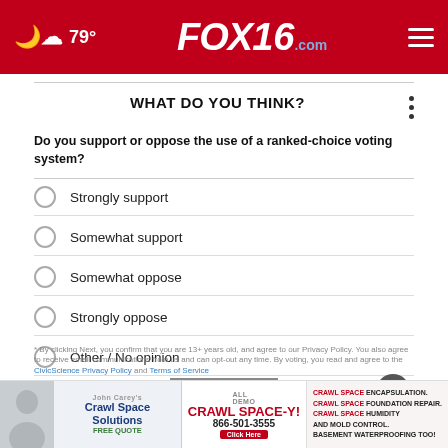☁ 79° FOX16.com
WHAT DO YOU THINK?
Do you support or oppose the use of a ranked-choice voting system?
Strongly support
Somewhat support
Somewhat oppose
Strongly oppose
Other / No opinion
[Figure (screenshot): NEXT * button and close (X) button]
[Figure (photo): Advertisement banner: John Carey's Crawl Space Solutions, Crawl Space-Y, 866-501-3555, crawl space encapsulation, foundation repair, humidity and mold control, basement waterproofing]
* By clicking Next, you confirm that you are 13+ years old, and agree to our Privacy Policy. You also agree to receive email communications from us and can opt-out any time. By voting, you read and agree to the CivicScience Privacy Policy and Terms of Service